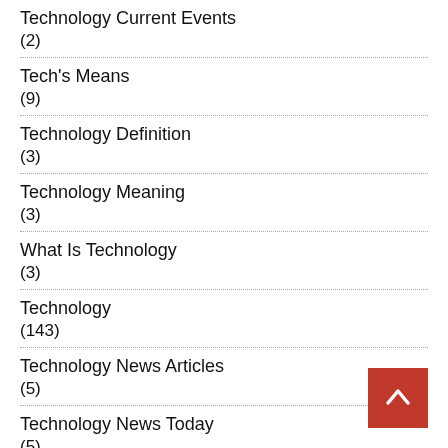Technology Current Events
(2)
Tech's Means
(9)
Technology Definition
(3)
Technology Meaning
(3)
What Is Technology
(3)
Technology
(143)
Technology News Articles
(5)
Technology News Today
(5)
Technology Updates